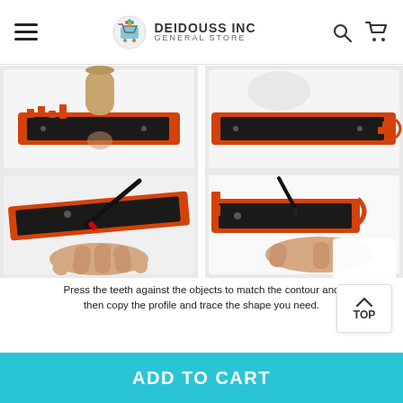DEIDOUSS INC GENERAL STORE
[Figure (photo): Four-panel product demonstration photos showing an orange and black contour gauge/profile gauge tool. Top-left: tool pressed against a cardboard tube. Top-right: tool showing contoured profile result. Bottom-left: hand tracing the contour shape with a marker. Bottom-right: hand using the shaped gauge as a template for tracing.]
Press the teeth against the objects to match the contour and then copy the profile and trace the shape you need.
TOP
ADD TO CART